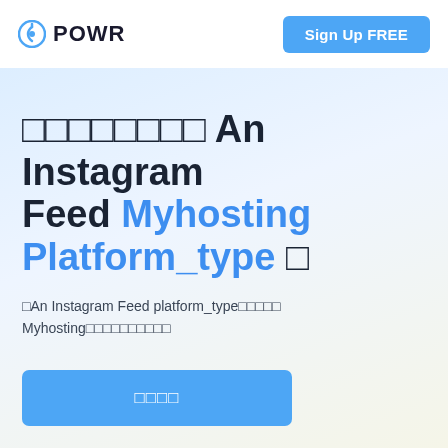POWR | Sign Up FREE
□□□□□□□□ An Instagram Feed Myhosting Platform_type □
□An Instagram Feed platform_type□□□□□ Myhosting□□□□□□□□□□
□□□□